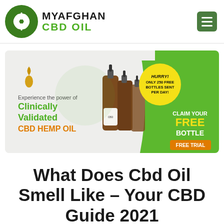[Figure (logo): MyAfghan CBD Oil logo with green cannabis leaf circle and text]
[Figure (illustration): CBD Hemp Oil advertisement banner: 'Experience the power of Clinically Validated CBD HEMP OIL', three brown dropper bottles, yellow circle with 'HURRY! ONLY 250 FREE BOTTLES SENT PER DAY!', green right section 'CLAIM YOUR FREE BOTTLE', orange 'FREE TRIAL' button]
What Does Cbd Oil Smell Like – Your CBD Guide 2021